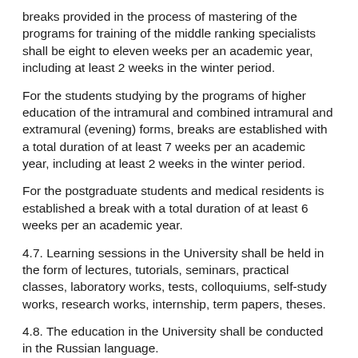breaks provided in the process of mastering of the programs for training of the middle ranking specialists shall be eight to eleven weeks per an academic year, including at least 2 weeks in the winter period.
For the students studying by the programs of higher education of the intramural and combined intramural and extramural (evening) forms, breaks are established with a total duration of at least 7 weeks per an academic year, including at least 2 weeks in the winter period.
For the postgraduate students and medical residents is established a break with a total duration of at least 6 weeks per an academic year.
4.7. Learning sessions in the University shall be held in the form of lectures, tutorials, seminars, practical classes, laboratory works, tests, colloquiums, self-study works, research works, internship, term papers, theses.
4.8. The education in the University shall be conducted in the Russian language.
Education can be received in a foreign language in accordance with the educational program and in accordance with the procedure established by the legislation of the Russian Federation on education and